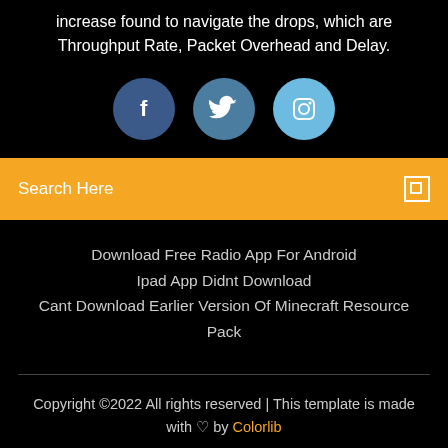increase found to navigate the drops, which are Throughput Rate, Packet Overhead and Delay.
[Figure (illustration): Three social media icon circles: Facebook (dark blue), Twitter (medium blue), Instagram (light blue)]
Search Here
Download Free Radio App For Android
Ipad App Didnt Download
Cant Download Earlier Version Of Minecraft Resource Pack
Copyright ©2022 All rights reserved | This template is made with ♡ by Colorlib